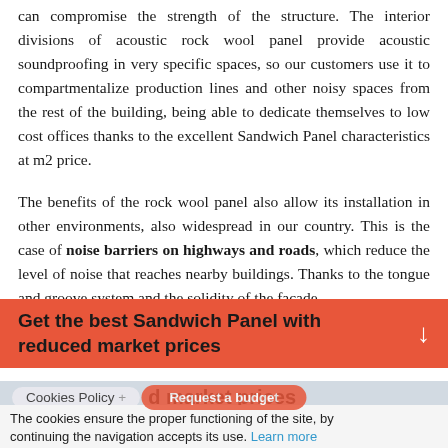can compromise the strength of the structure. The interior divisions of acoustic rock wool panel provide acoustic soundproofing in very specific spaces, so our customers use it to compartmentalize production lines and other noisy spaces from the rest of the building, being able to dedicate themselves to low cost offices thanks to the excellent Sandwich Panel characteristics at m2 price.
The benefits of the rock wool panel also allow its installation in other environments, also widespread in our country. This is the case of noise barriers on highways and roads, which reduce the level of noise that reaches nearby buildings. Thanks to the tongue and groove system and the solidity of the facade
Get the best Sandwich Panel with reduced market prices
Cookies Policy + reduced market prices
The cookies ensure the proper functioning of the site, by continuing the navigation accepts its use. Learn more